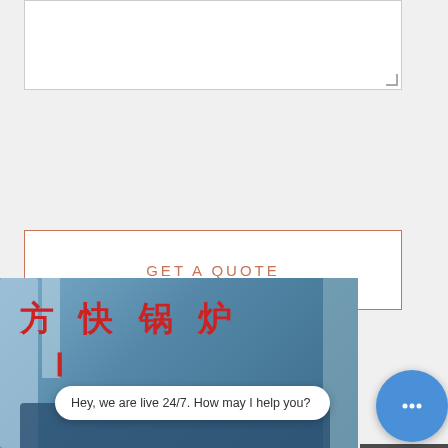[Figure (screenshot): Text area input box with resize handle]
GET A QUOTE
[Figure (screenshot): Dark sidebar panel with Chat, Email, Contact, and scroll-to-top icons]
[Figure (photo): Industrial boiler facility with blue background and Chinese text reading 方快锅炉 (Fangkuai Boiler)]
Hey, we are live 24/7. How may I help you?